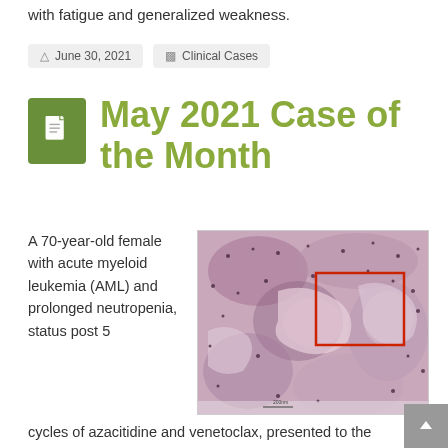with fatigue and generalized weakness.
June 30, 2021   Clinical Cases
May 2021 Case of the Month
A 70-year-old female with acute myeloid leukemia (AML) and prolonged neutropenia, status post 5 cycles of azacitidine and venetoclax, presented to the
[Figure (photo): Histopathology slide showing tissue with hematoxylin and eosin stain; a red rectangle highlights a region of interest in the upper right area of the image.]
cycles of azacitidine and venetoclax, presented to the